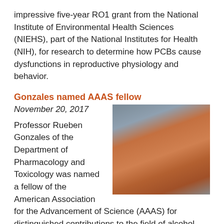impressive five-year RO1 grant from the National Institute of Environmental Health Sciences (NIEHS), part of the National Institutes for Health (NIH), for research to determine how PCBs cause dysfunctions in reproductive physiology and behavior.
Gonzales named AAAS fellow
November 20, 2017
[Figure (photo): Portrait photo of Professor Rueben Gonzales, a man wearing glasses and an orange shirt, smiling]
Professor Rueben Gonzales of the Department of Pharmacology and Toxicology was named a fellow of the American Association for the Advancement of Science (AAAS) for distinguished contributions to the field of alcohol research.